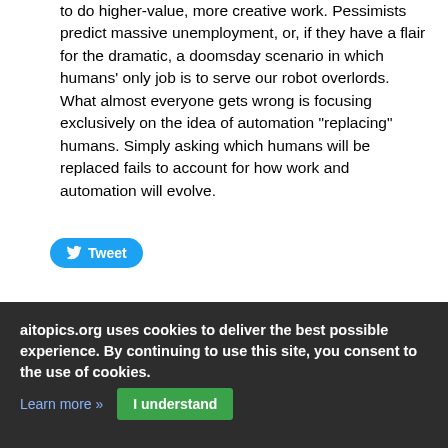to do higher-value, more creative work. Pessimists predict massive unemployment, or, if they have a flair for the dramatic, a doomsday scenario in which humans' only job is to serve our robot overlords. What almost everyone gets wrong is focusing exclusively on the idea of automation "replacing" humans. Simply asking which humans will be replaced fails to account for how work and automation will evolve.
[Figure (other): Tweet button with Twitter bird icon]
Convenience stores address labor crunch with automation, shorter hours
The Japan Times    Jan-11-2018, 05:40:52
aitopics.org uses cookies to deliver the best possible experience. By continuing to use this site, you consent to the use of cookies.
Learn more »   I understand